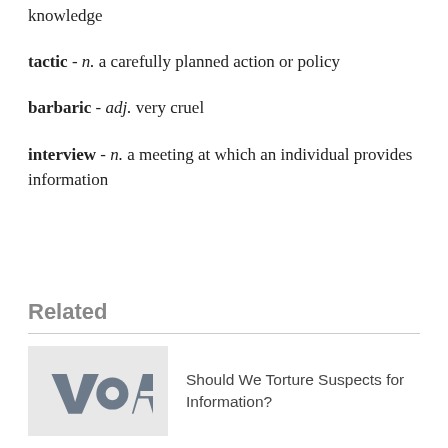knowledge
tactic - n. a carefully planned action or policy
barbaric - adj. very cruel
interview - n. a meeting at which an individual provides information
Related
Should We Torture Suspects for Information?